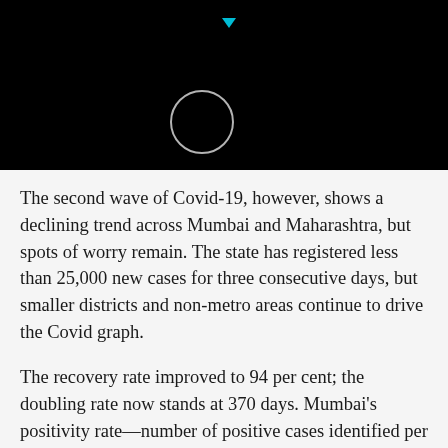[Figure (photo): Black background header area with a circular outline icon (white ring) and a small cyan downward-pointing triangle indicator at the top center]
The second wave of Covid-19, however, shows a declining trend across Mumbai and Maharashtra, but spots of worry remain. The state has registered less than 25,000 new cases for three consecutive days, but smaller districts and non-metro areas continue to drive the Covid graph.
The recovery rate improved to 94 per cent; the doubling rate now stands at 370 days. Mumbai's positivity rate—number of positive cases identified per 100—stood at 3.14 per cent. It recorded its record positivity rate of 3 per cent on 19 January.